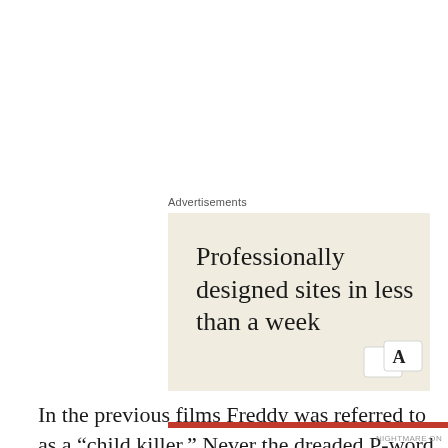Advertisements
[Figure (illustration): Advertisement banner with cream/beige background showing text 'Professionally designed sites in less than a week' with small card/keyboard illustrations in the bottom right corner.]
In the previous films Freddy was referred to as a “child killer.” Never the dreaded P-word. That is for the best
Privacy & Cookies: This site uses cookies. By continuing to use this website, you agree to their use.
To find out more, including how to control cookies, see here: Cookie Policy
Close and accept